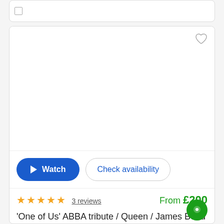[Figure (screenshot): Top card with checkbox placeholder, partially visible]
[Figure (screenshot): Product listing card with heart/favorite icon, white image area, Watch and Check availability buttons]
3 reviews   From £200
'One of Us' ABBA tribute / Queen / James Bond + more